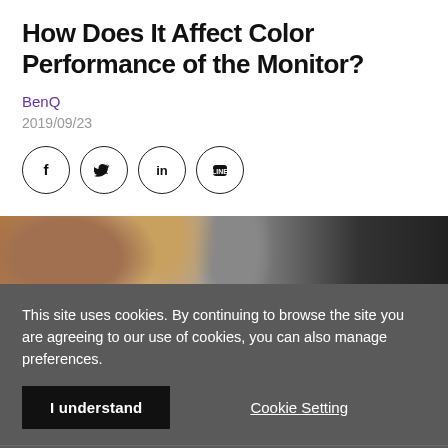How Does It Affect Color Performance of the Monitor?
BenQ
2019/09/23
[Figure (other): Social media share icons: Facebook, Twitter, LinkedIn, LINE]
[Figure (photo): Partial photo of a person at a monitor showing design software, warm background with window light]
This site uses cookies. By continuing to browse the site you are agreeing to our use of cookies, you can also manage preferences.
I understand
Cookie Setting
Find More